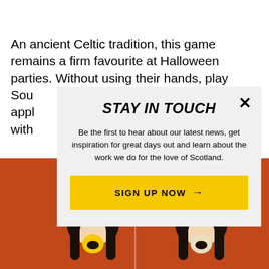An ancient Celtic tradition, this game remains a firm favourite at Halloween parties. Without using their hands, play... Sou... appl... with...
3.
[Figure (illustration): Two cartoon figures with dark hair biting into something, on an orange/rust background, separated by a vertical dividing line.]
STAY IN TOUCH
Be the first to hear about our latest news, get inspiration for great days out and learn about the work we do for the love of Scotland.
SIGN UP NOW →